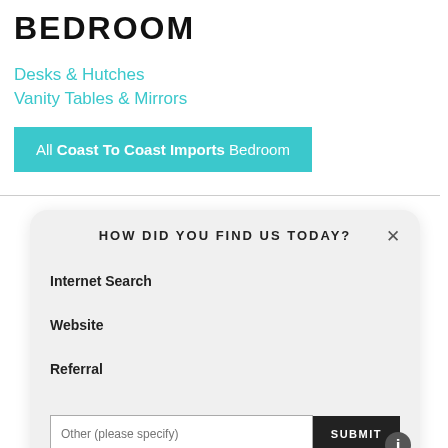BEDROOM
Desks & Hutches
Vanity Tables & Mirrors
All Coast To Coast Imports Bedroom
HOW DID YOU FIND US TODAY?
Internet Search
Website
Referral
Other (please specify)
SUBMIT